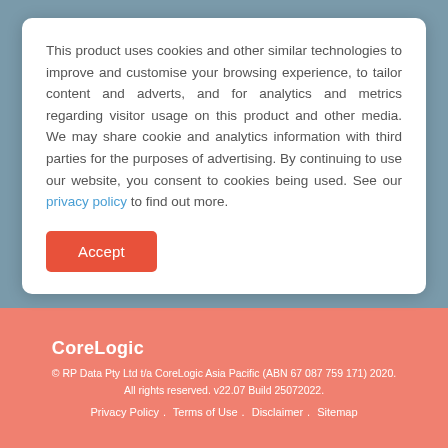This product uses cookies and other similar technologies to improve and customise your browsing experience, to tailor content and adverts, and for analytics and metrics regarding visitor usage on this product and other media. We may share cookie and analytics information with third parties for the purposes of advertising. By continuing to use our website, you consent to cookies being used. See our privacy policy to find out more.
Accept
Twitter
RP Data Blog
Linkedin
CoreLogic
© RP Data Pty Ltd t/a CoreLogic Asia Pacific (ABN 67 087 759 171) 2020. All rights reserved. v22.07 Build 25072022.
Privacy Policy . Terms of Use . Disclaimer . Sitemap